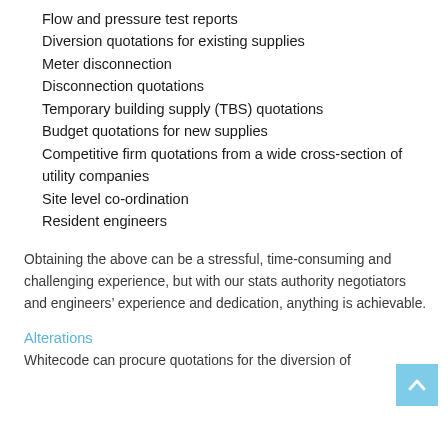Flow and pressure test reports
Diversion quotations for existing supplies
Meter disconnection
Disconnection quotations
Temporary building supply (TBS) quotations
Budget quotations for new supplies
Competitive firm quotations from a wide cross-section of utility companies
Site level co-ordination
Resident engineers
Obtaining the above can be a stressful, time-consuming and challenging experience, but with our stats authority negotiators and engineers’ experience and dedication, anything is achievable.
Alterations
Whitecode can procure quotations for the diversion of